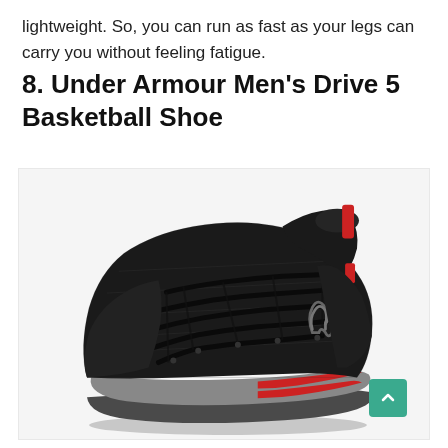lightweight. So, you can run as fast as your legs can carry you without feeling fatigue.
8. Under Armour Men's Drive 5 Basketball Shoe
[Figure (photo): Under Armour Men's Drive 5 Basketball Shoe — a high-top black basketball shoe with red accent tabs and Under Armour logo on the side, grey midsole with red stripe detail.]